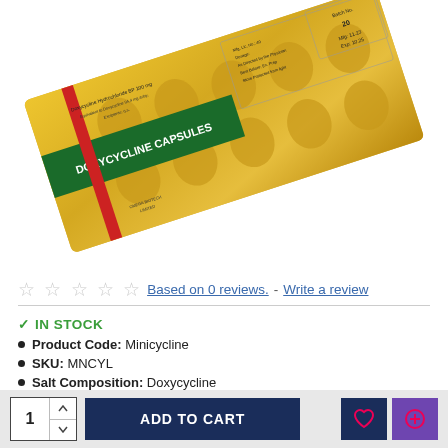[Figure (photo): Doxycycline Capsules blister pack (gold foil packaging) with red stripe and green label, displayed at an angle on white background]
☆ ☆ ☆ ☆ ☆  Based on 0 reviews.  -  Write a review
✓ IN STOCK
Product Code: Minicycline
SKU: MNCYL
Salt Composition: Doxycycline
1888 views
1  ADD TO CART